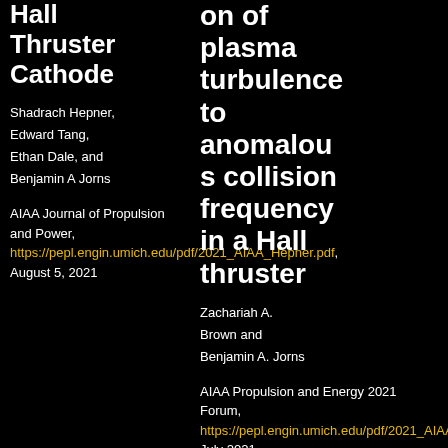Hall Thruster Cathode
Shadrach Hepner, Edward Tang, Ethan Dale, and Benjamin A Jorns
AIAA Journal of Propulsion and Power, https://pepl.engin.umich.edu/pdf/2021_AIAA_Hepner.pdf, August 5, 2021
on of plasma turbulence to anomalous collision frequency in a Hall thruster
Zachariah A. Brown and Benjamin A. Jorns
AIAA Propulsion and Energy 2021 Forum, https://pepl.engin.umich.edu/pdf/2021_AIAA_PE_Brown.pdf, July 2021